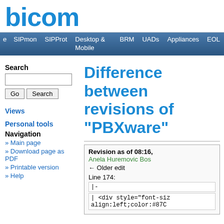[Figure (logo): Bicom Systems logo in blue text]
SIPmon  SIPProt  Desktop & Mobile  BRM  UADs  Appliances  EOL
Search
Views
Personal tools
Navigation
» Main page
» Download page as PDF
» Printable version
» Help
Difference between revisions of "PBXware"
Revision as of 08:16, Anela Huremovic Bos ← Older edit Line 174: |- | <div style="font-siz align:left;color:#87C